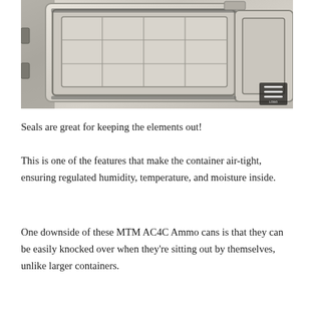[Figure (photo): Close-up photo of MTM AC4C ammo can container insert with grid compartments and rubber seal visible, beige/tan plastic, viewed from above at an angle. Logo watermark in bottom right corner.]
Seals are great for keeping the elements out!
This is one of the features that make the container air-tight, ensuring regulated humidity, temperature, and moisture inside.
One downside of these MTM AC4C Ammo cans is that they can be easily knocked over when they're sitting out by themselves, unlike larger containers.